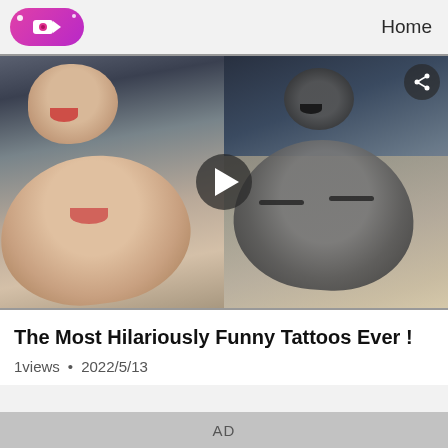Home
[Figure (screenshot): Video thumbnail showing two side-by-side images: left photo of two people laughing/surprised, right photo of a detailed tattoo replicating those faces on someone's skin. A play button overlay is centered on the combined image.]
The Most Hilariously Funny Tattoos Ever !
1views • 2022/5/13
AD